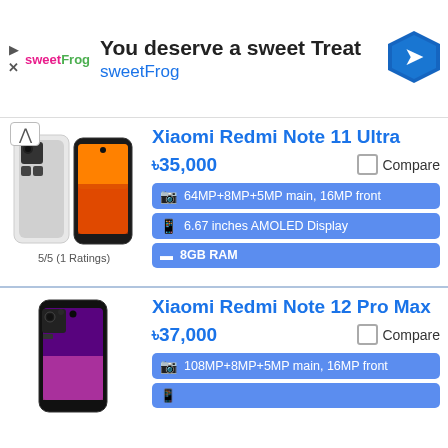[Figure (screenshot): SweetFrog advertisement banner with logo, tagline 'You deserve a sweet Treat', brand name 'sweetFrog', navigation icon]
Xiaomi Redmi Note 11 Ultra
৳35,000
Compare
64MP+8MP+5MP main, 16MP front
6.67 inches AMOLED Display
8GB RAM
5/5 (1 Ratings)
Xiaomi Redmi Note 12 Pro Max
৳37,000
Compare
108MP+8MP+5MP main, 16MP front